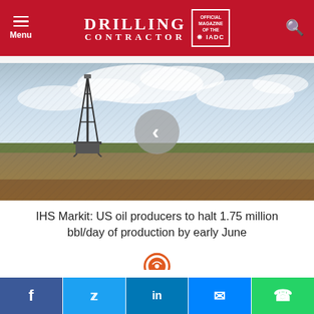DRILLING CONTRACTOR — Official Magazine of the IADC
[Figure (photo): Oil drilling rig in an open field under a cloudy sky, with a navigation left-arrow circle overlay]
IHS Markit: US oil producers to halt 1.75 million bbl/day of production by early June
[Figure (logo): Partial orange circular logo visible at bottom center]
Social sharing buttons: Facebook, Twitter, LinkedIn, Messenger, WhatsApp